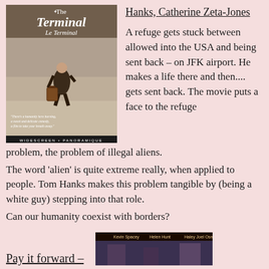[Figure (photo): Movie poster for 'The Terminal' (Le Terminal), showing a man with luggage in an airport terminal]
Hanks, Catherine Zeta-Jones
A refuge gets stuck between allowed into the USA and being sent back – on JFK airport. He makes a life there and then.... gets sent back. The movie puts a face to the refuge problem, the problem of illegal aliens.
The word 'alien' is quite extreme really, when applied to people. Tom Hanks makes this problem tangible by (being a white guy) stepping into that role.
Can our humanity coexist with borders?
Pay it forward –
[Figure (photo): Movie cover for 'Pay it Forward' showing Kevin Spacey, Helen Hunt, Haley Joel Osment]